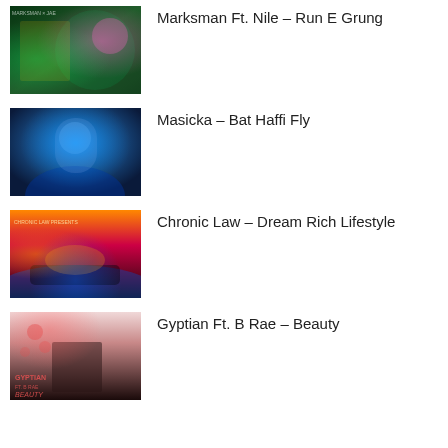Marksman Ft. Nile – Run E Grung
Masicka – Bat Haffi Fly
Chronic Law – Dream Rich Lifestyle
Gyptian Ft. B Rae – Beauty